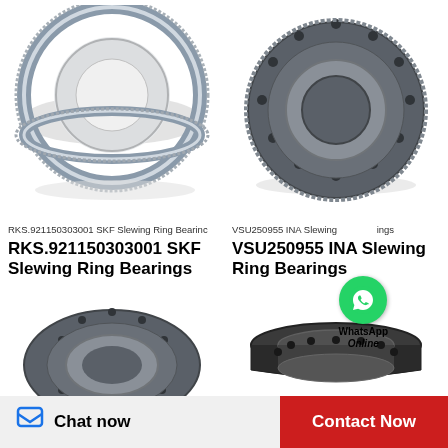[Figure (photo): RKS.921150303001 SKF Slewing Ring Bearing - large ring gear bearing with toothed outer edge, silver/chrome metallic color]
[Figure (photo): VSU250955 INA Slewing Ring Bearing - large flat ring bearing with bolt holes, dark metallic color]
RKS.921150303001 SKF Slewing Ring Bearing
VSU250955 INA Slewing Ring Bearings
RKS.921150303001 SKF Slewing Ring Bearings
VSU250955 INA Slewing Ring Bearings
[Figure (photo): Slewing ring bearing with bolt holes, dark metallic, viewed from slightly above]
[Figure (photo): Slewing ring bearing narrow profile with bolt holes, black and metallic]
Chat now
Contact Now